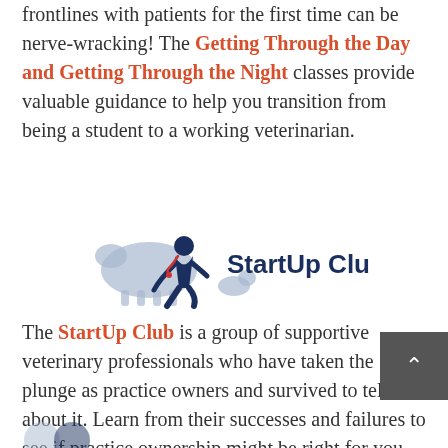frontlines with patients for the first time can be nerve-wracking! The Getting Through the Day and Getting Through the Night classes provide valuable guidance to help you transition from being a student to a working veterinarian.
[Figure (logo): StartUp Club logo with a veterinarian figure in dark blue kneeling with animals and light blue animal silhouettes in the background, with 'StartUp Club' text in dark navy bold font to the right.]
The StartUp Club is a group of supportive veterinary professionals who have taken the plunge as practice owners and survived to tell about it. Learn from their successes and failures to see if practice ownership might be right for you.